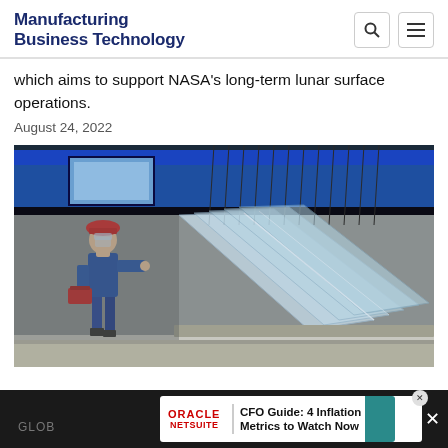Manufacturing Business Technology
which aims to support NASA's long-term lunar surface operations.
August 24, 2022
[Figure (photo): Worker in blue coveralls and red hard hat examining large transparent acrylic or glass panels on an industrial machine with blue equipment in background]
GLOB
[Figure (infographic): Oracle NetSuite advertisement banner: CFO Guide: 4 Inflation Metrics to Watch Now]